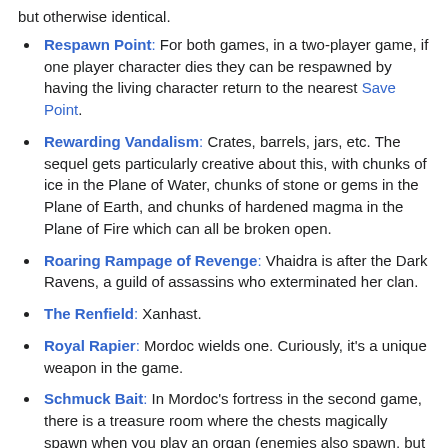but otherwise identical.
Respawn Point: For both games, in a two-player game, if one player character dies they can be respawned by having the living character return to the nearest Save Point.
Rewarding Vandalism: Crates, barrels, jars, etc. The sequel gets particularly creative about this, with chunks of ice in the Plane of Water, chunks of stone or gems in the Plane of Earth, and chunks of hardened magma in the Plane of Fire which can all be broken open.
Roaring Rampage of Revenge: Vhaidra is after the Dark Ravens, a guild of assassins who exterminated her clan.
The Renfield: Xanhast.
Royal Rapier: Mordoc wields one. Curiously, it's a unique weapon in the game.
Schmuck Bait: In Mordoc's fortress in the second game, there is a treasure room where the chests magically spawn when you play an organ (enemies also spawn, but